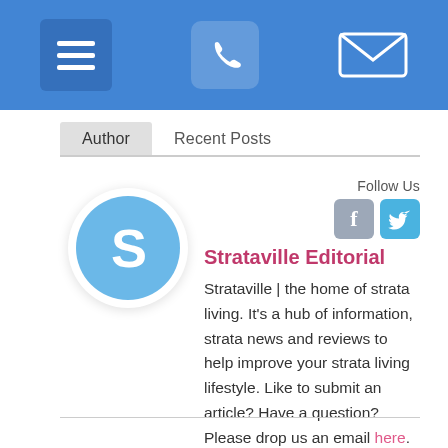[Figure (screenshot): Website header bar with hamburger menu icon, phone icon, and mail/envelope icon on blue background]
Author	Recent Posts
[Figure (illustration): Round avatar with letter S on blue circle with white shadow ring]
Follow Us
[Figure (other): Facebook and Twitter social media icons]
Strataville Editorial
Strataville | the home of strata living. It's a hub of information, strata news and reviews to help improve your strata living lifestyle. Like to submit an article? Have a question? Please drop us an email here.